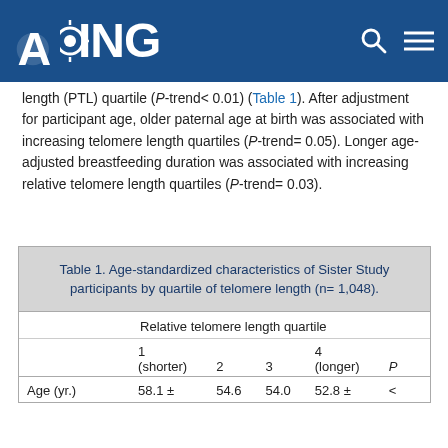AGING
length (PTL) quartile (P-trend< 0.01) (Table 1). After adjustment for participant age, older paternal age at birth was associated with increasing telomere length quartiles (P-trend= 0.05). Longer age-adjusted breastfeeding duration was associated with increasing relative telomere length quartiles (P-trend= 0.03).
|  | 1 (shorter) | 2 | 3 | 4 (longer) | P |
| --- | --- | --- | --- | --- | --- |
| Age (yr.) | 58.1 ± | 54.6 | 54.0 | 52.8 ± | < |